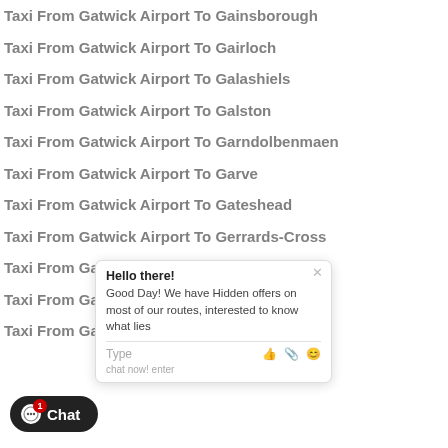Taxi From Gatwick Airport To Gainsborough
Taxi From Gatwick Airport To Gairloch
Taxi From Gatwick Airport To Galashiels
Taxi From Gatwick Airport To Galston
Taxi From Gatwick Airport To Garndolbenmaen
Taxi From Gatwick Airport To Garve
Taxi From Gatwick Airport To Gateshead
Taxi From Gatwick Airport To Gerrards-Cross
Taxi From Gatwick Airport To Gillingham
Taxi From Gatwick Airport To Girvan
Taxi From Gatwick Airport To Glasgow
[Figure (screenshot): Chat popup overlay with Hello there! message and Good Day! We have Hidden offers on most of our routes, interested to know what lies text, with Type input bar and emoji icons]
[Figure (screenshot): Chat button at bottom left with notification badge showing 1]